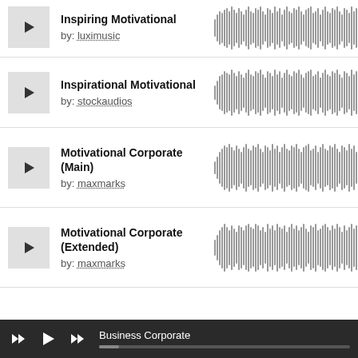Inspiring Motivational
by: luximusic
[Figure (other): Audio waveform visualization for Inspiring Motivational track]
Inspirational Motivational
by: stockaudios
[Figure (other): Audio waveform visualization for Inspirational Motivational track]
Motivational Corporate (Main)
by: maxmarks
[Figure (other): Audio waveform visualization for Motivational Corporate (Main) track]
Motivational Corporate (Extended)
by: maxmarks
[Figure (other): Audio waveform visualization for Motivational Corporate (Extended) track]
Business Corporate